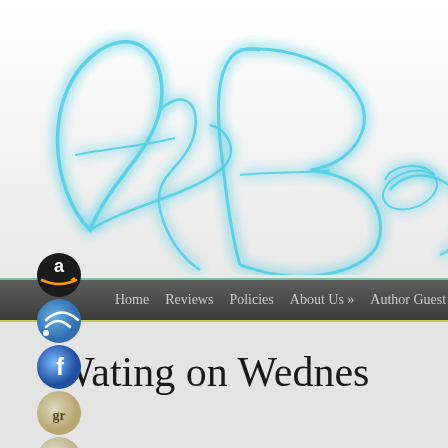[Figure (logo): Decorative cursive logo text 'A Boo...' in glowing teal/cyan script on light background — part of a book blog website header]
[Figure (infographic): Vertical strip of social media icon buttons: Amazon (black circle with 'a'), RSS feed (blue circle with wifi symbol), Facebook (blue circle with 'f'), Goodreads (beige circle with 'gr'), Email (beige circle with envelope)]
Home   Reviews   Policies   About Us »   Author Guest
Wating on Wednes